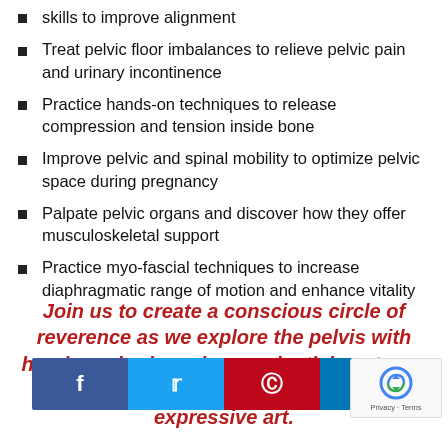skills to improve alignment
Treat pelvic floor imbalances to relieve pelvic pain and urinary incontinence
Practice hands-on techniques to release compression and tension inside bone
Improve pelvic and spinal mobility to optimize pelvic space during pregnancy
Palpate pelvic organs and discover how they offer musculoskeletal support
Practice myo-fascial techniques to increase diaphragmatic range of motion and enhance vitality
Join us to create a conscious circle of reverence as we explore the pelvis with hands-on bodywork, experiential anatomy, guided movement, body patterning and expressive art.